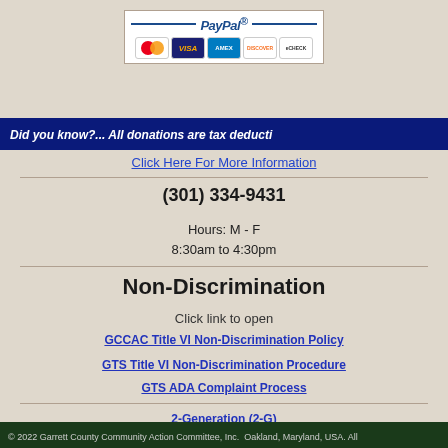[Figure (logo): PayPal payment logo with MasterCard, VISA, AMEX, Discover, and eCheck card icons]
Did you know?... All donations are tax deducti
Click Here For More Information
(301) 334-9431
Hours: M - F
8:30am to 4:30pm
Non-Discrimination
Click link to open
GCCAC Title VI Non-Discrimination Policy
GTS Title VI Non-Discrimination Procedure
GTS ADA Complaint Process
2-Generation (2-G)
© 2022 Garrett County Community Action Committee, Inc.  Oakland, Maryland, USA. All